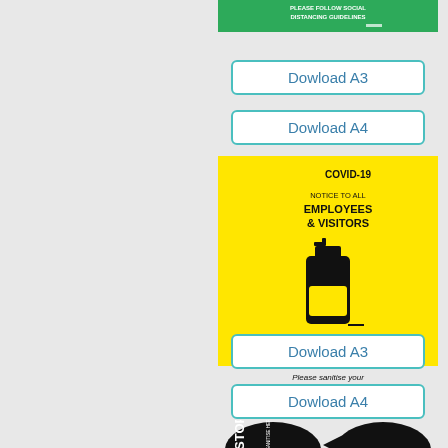[Figure (illustration): Green COVID-19 social distancing guidelines sign (partially visible at top)]
Dowload A3
Dowload A4
[Figure (illustration): Yellow COVID-19 notice to all employees and visitors - please sanitise your hands before passing this point, with hand sanitiser bottle icon]
Dowload A3
Dowload A4
[Figure (illustration): Black circular STOP sanitise here floor stickers shown as a pair]